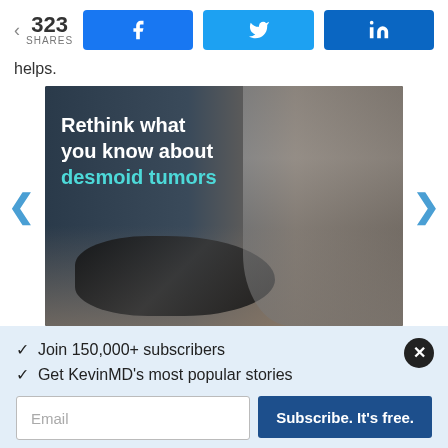323 SHARES | Facebook | Twitter | LinkedIn
helps.
[Figure (photo): Advertisement image for desmoid tumors awareness. Shows a woman sitting on the floor working with dark twisted material. Text overlay reads: 'Rethink what you know about desmoid tumors' with 'desmoid tumors' highlighted in cyan.]
✓ Join 150,000+ subscribers
✓ Get KevinMD's most popular stories